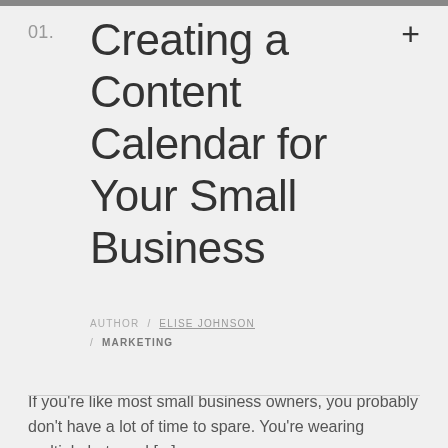01. Creating a Content Calendar for Your Small Business
AUTHOR / ELISE JOHNSON / MARKETING
If you're like most small business owners, you probably don't have a lot of time to spare. You're wearing multiple hats and [...]